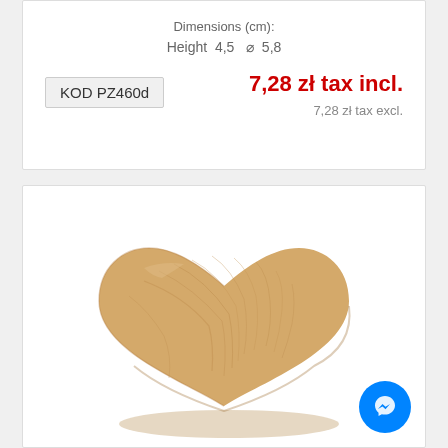Dimensions (cm):
Height  4,5  ∅  5,8
KOD PZ460d
7,28 zł tax incl.
7,28 zł tax excl.
[Figure (photo): A wooden heart-shaped decorative object, flat with beveled edges, made of light beech wood with visible grain texture, photographed on white background.]